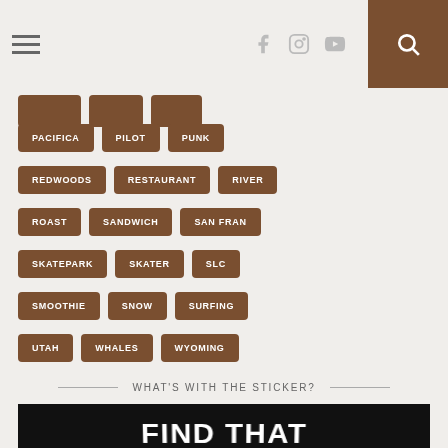Navigation bar with hamburger menu, social icons (Facebook, Instagram, YouTube), and search button
PACIFICA
PILOT
PUNK
REDWOODS
RESTAURANT
RIVER
ROAST
SANDWICH
SAN FRAN
SKATEPARK
SKATER
SLC
SMOOTHIE
SNOW
SURFING
UTAH
WHALES
WYOMING
WHAT'S WITH THE STICKER?
[Figure (photo): Black background with large white bold wavy text reading 'FIND THAT' - partial view]